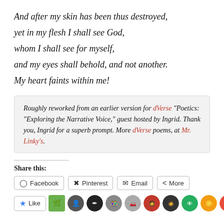And after my skin has been thus destroyed,
yet in my flesh I shall see God,
whom I shall see for myself,
and my eyes shall behold, and not another.
My heart faints within me!
Roughly reworked from an earlier version for dVerse "Poetics: "Exploring the Narrative Voice," guest hosted by Ingrid. Thank you, Ingrid for a superb prompt. More dVerse poems, at Mr. Linky's.
Share this:
Facebook | Pinterest | Email | More
Like